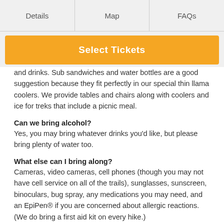Details | Map | FAQs
Select Tickets
and drinks. Sub sandwiches and water bottles are a good suggestion because they fit perfectly in our special thin llama coolers. We provide tables and chairs along with coolers and ice for treks that include a picnic meal.
Can we bring alcohol?
Yes, you may bring whatever drinks you'd like, but please bring plenty of water too.
What else can I bring along?
Cameras, video cameras, cell phones (though you may not have cell service on all of the trails), sunglasses, sunscreen, binoculars, bug spray, any medications you may need, and an EpiPen® if you are concerned about allergic reactions. (We do bring a first aid kit on every hike.)
What should I leave at home?